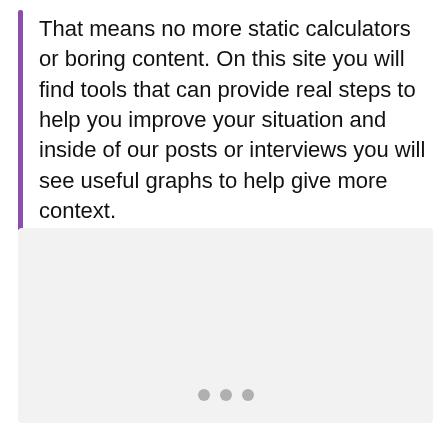That means no more static calculators or boring content. On this site you will find tools that can provide real steps to help you improve your situation and inside of our posts or interviews you will see useful graphs to help give more context.
[Figure (other): Light grey rectangular placeholder image area with three grey pagination dots at the bottom center]